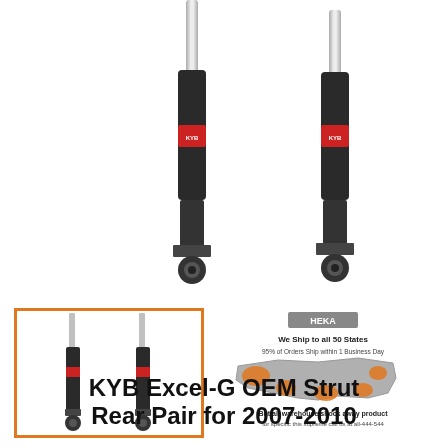[Figure (photo): Two KYB Excel-G rear shock absorbers shown upright side by side against a white background. Black cylindrical bodies with red KYB label bands near the top and chrome shafts visible at top. Mounting eye at bottom.]
[Figure (photo): Small thumbnail of the same two KYB shock absorbers, enclosed in an orange rectangle border.]
[Figure (infographic): Shipping infographic with HEKA logo showing a map of the USA with orange highlights and text: We Ship to all 50 States, 95% of Orders Ship within 1 Business Day.]
KYB Excel-G OEM Strut Rear Pair for 2007-2010